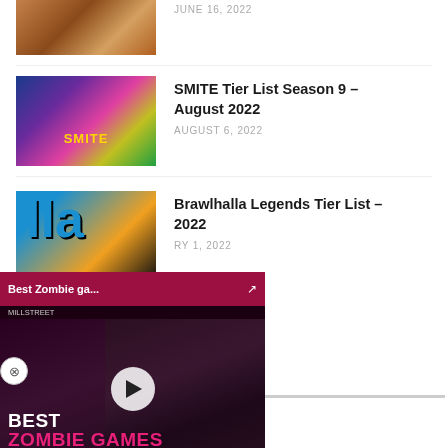[Figure (photo): Partial thumbnail of a game/movie image with fire tones, cropped at top]
JUNE 16, 2022
[Figure (photo): SMITE game thumbnail with colorful characters and SMITE logo]
SMITE Tier List Season 9 – August 2022
AUGUST 6, 2022
[Figure (photo): Brawlhalla game thumbnail with blue and orange lettering]
Brawlhalla Legends Tier List – 2022
RY 1, 2022
[Figure (screenshot): Video overlay popup showing Best Zombie Games video with play button, pink/dark theme]
Best Zombie ga...